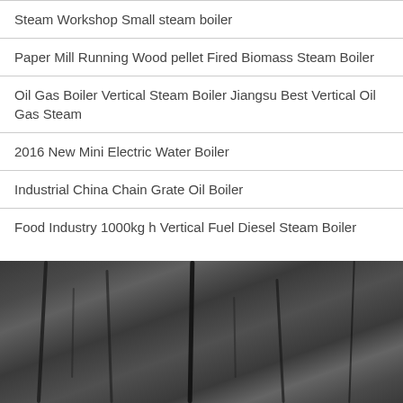Steam Workshop Small steam boiler
Paper Mill Running Wood pellet Fired Biomass Steam Boiler
Oil Gas Boiler Vertical Steam Boiler Jiangsu Best Vertical Oil Gas Steam
2016 New Mini Electric Water Boiler
Industrial China Chain Grate Oil Boiler
Food Industry 1000kg h Vertical Fuel Diesel Steam Boiler
[Figure (photo): Dark textured surface resembling stone or bark with vertical crack-like lines, photographed in low light giving a grey-black appearance]